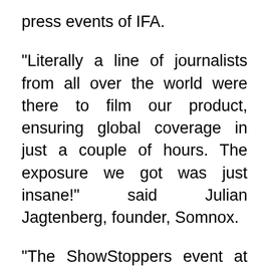press events of IFA.
“Literally a line of journalists from all over the world were there to film our product, ensuring global coverage in just a couple of hours. The exposure we got was just insane!” said Julian Jagtenberg, founder, Somnox.
“The ShowStoppers event at IFA enabled Bitdefender to network with an incredible crowd of journalists and influencers from